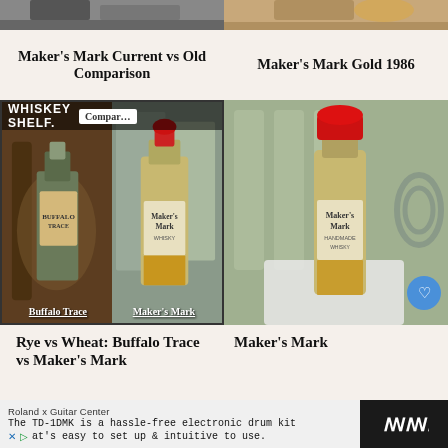[Figure (photo): Top strip showing two partial images of whisky bottles/glasses]
Maker’s Mark Current vs Old Comparison
Maker’s Mark Gold 1986
[Figure (photo): Whisky Shelf comparison image showing Buffalo Trace and Maker’s Mark bottles side by side with labels at bottom]
[Figure (photo): Photo of Maker’s Mark mini bottle with red wax top, outdoor urban setting, heart/like icon overlay]
Rye vs Wheat: Buffalo Trace vs Maker’s Mark
Maker’s Mark
22
Roland x Guitar Center
The TD-1DMK is a hassle-free electronic drum kit
at’s easy to set up & intuitive to use.